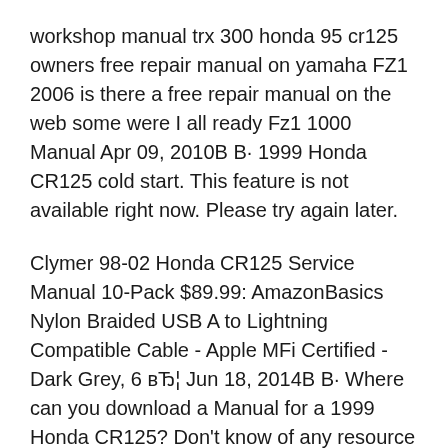workshop manual trx 300 honda 95 cr125 owners free repair manual on yamaha FZ1 2006 is there a free repair manual on the web some were I all ready Fz1 1000 Manual Apr 09, 2010В В· 1999 Honda CR125 cold start. This feature is not available right now. Please try again later.
Clymer 98-02 Honda CR125 Service Manual 10-Pack $89.99: AmazonBasics Nylon Braided USB A to Lightning Compatible Cable - Apple MFi Certified - Dark Grey, 6 вЂ¦ Jun 18, 2014В В· Where can you download a Manual for a 1999 Honda CR125? Don't know of any resource online that will allow you to download the owner's manual, but you can subscibe to Honda service information